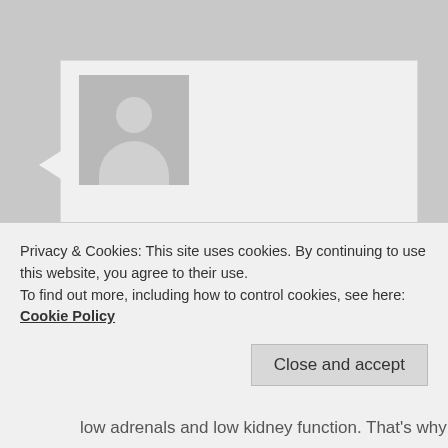[Figure (illustration): Generic user avatar placeholder — grey square with a silhouette of a person (circle head, rounded-rectangle body)]
Inteli Don on July 31, 2016 at 12:44 PM said:
I just finished my first dry fast after 36 hours and am looking forward to repeating this often and then extending the duration. Over the past few years, I've done several water-only fasts, including 10, 22, 26, and 30 days with benefits and a gradual healing of my irritable bowel, joint and
Privacy & Cookies: This site uses cookies. By continuing to use this website, you agree to their use.
To find out more, including how to control cookies, see here: Cookie Policy
Close and accept
low adrenals and low kidney function. That's why